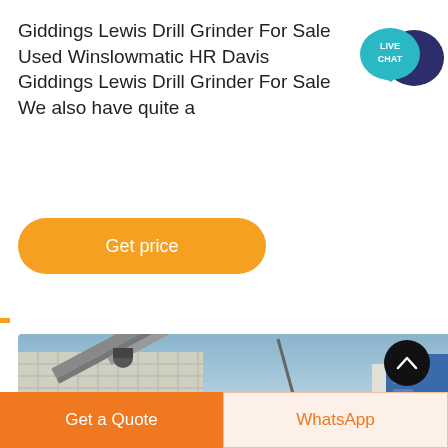Giddings Lewis Drill Grinder For Sale Used Winslowmatic HR Davis Giddings Lewis Drill Grinder For Sale We also have quite a
[Figure (illustration): Live Chat speech bubble icon — teal/dark blue speech bubble with 'LIVE CHAT' text]
Get price
[Figure (photo): Industrial machinery photo showing large conveyor belts and structural framework against a blue sky, with a blue industrial building on the right side]
Get a Quote
WhatsApp